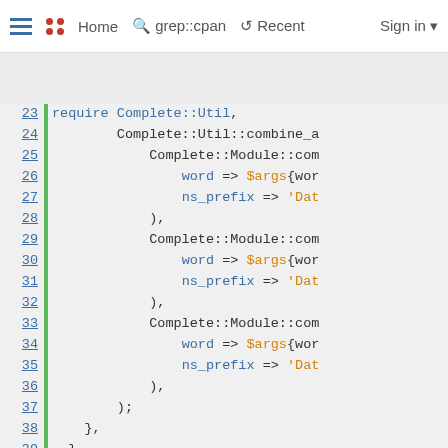Home | grep::cpan | Recent | Sign in
[Figure (screenshot): Code viewer showing Perl source lines 23-48 with syntax highlighting on a light gray background. Line numbers are blue and underlined on the left, with a green vertical bar separator.]